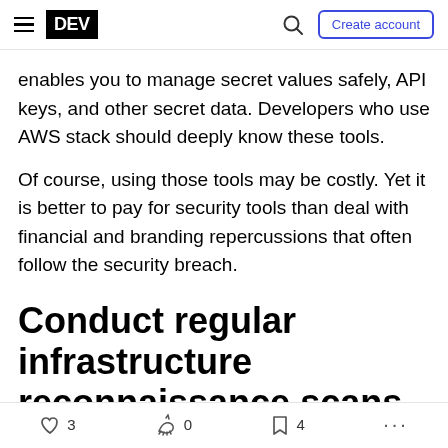DEV | Create account
enables you to manage secret values safely, API keys, and other secret data. Developers who use AWS stack should deeply know these tools.
Of course, using those tools may be costly. Yet it is better to pay for security tools than deal with financial and branding repercussions that often follow the security breach.
Conduct regular infrastructure reconnaissance scans
3  0  4  ...